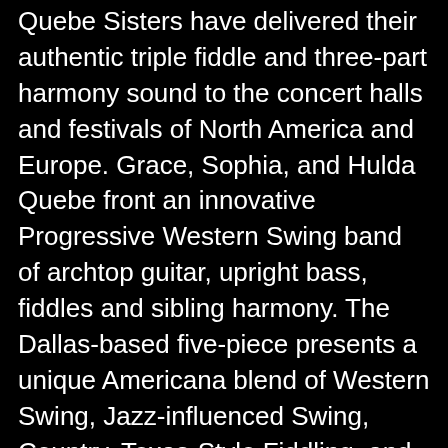Quebe Sisters have delivered their authentic triple fiddle and three-part harmony sound to the concert halls and festivals of North America and Europe. Grace, Sophia, and Hulda Quebe front an innovative Progressive Western Swing band of archtop guitar, upright bass, fiddles and sibling harmony. The Dallas-based five-piece presents a unique Americana blend of Western Swing, Jazz-influenced Swing, Country, Texas-Style Fiddling, and Western music.
“We differentiate our music as ‘Progressive Western Swing’ from simply ‘Western Swing’ because we aren’t trying to sound just like Bob Wills,” Grace Quebe explains. “Instead, we continue his vision, playing the style he pioneered in an authentic way by